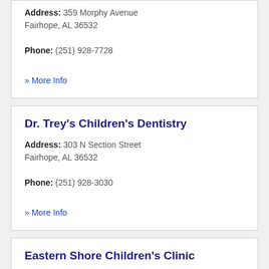Address: 359 Morphy Avenue Fairhope, AL 36532
Phone: (251) 928-7728
» More Info
Dr. Trey's Children's Dentistry
Address: 303 N Section Street Fairhope, AL 36532
Phone: (251) 928-3030
» More Info
Eastern Shore Children's Clinic
Address: 150 S Ingleside St Suite 7 Fairhope, AL 36532